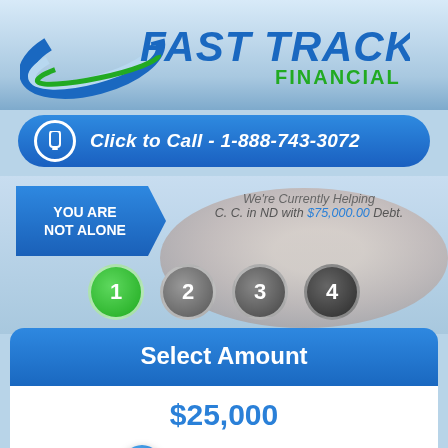[Figure (logo): Fast Track Financial logo with swoosh graphic and green/blue color scheme]
Click to Call - 1-888-743-3072
YOU ARE NOT ALONE
We're Currently Helping C. C. in ND with $75,000.00 Debt.
[Figure (infographic): Four numbered step circles: 1 (green), 2 (gray), 3 (gray), 4 (dark gray)]
Select Amount
$25,000
[Figure (infographic): Horizontal slider with green filled left portion, blue thumb at ~25% position]
$10K
$100K+